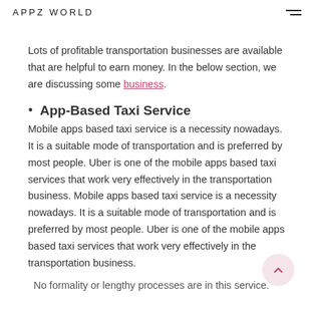APPZ WORLD
Lots of profitable transportation businesses are available that are helpful to earn money. In the below section, we are discussing some business.
App-Based Taxi Service
Mobile apps based taxi service is a necessity nowadays. It is a suitable mode of transportation and is preferred by most people. Uber is one of the mobile apps based taxi services that work very effectively in the transportation business. Mobile apps based taxi service is a necessity nowadays. It is a suitable mode of transportation and is preferred by most people. Uber is one of the mobile apps based taxi services that work very effectively in the transportation business.
No formality or lengthy processes are in this service.